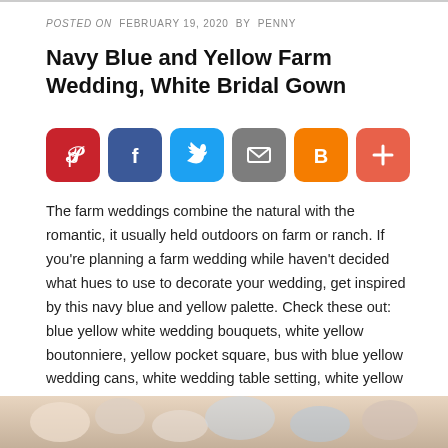POSTED ON  FEBRUARY 19, 2020  BY  PENNY
Navy Blue and Yellow Farm Wedding, White Bridal Gown
[Figure (infographic): Social share buttons row: Pinterest (red), Facebook (blue), Twitter (light blue), Email (gray), Blogger (orange), Plus/Add (coral)]
The farm weddings combine the natural with the romantic, it usually held outdoors on farm or ranch. If you're planning a farm wedding while haven't decided what hues to use to decorate your wedding, get inspired by this navy blue and yellow palette. Check these out: blue yellow white wedding bouquets, white yellow boutonniere, yellow pocket square, bus with blue yellow wedding cans, white wedding table setting, white yellow wedding chair sashes, and yellow blue table garland. Take a look at our ideas for further wedding inspiration.
[Figure (photo): Bottom strip showing a wedding bouquet photo with flowers in white, peach, and blue tones]